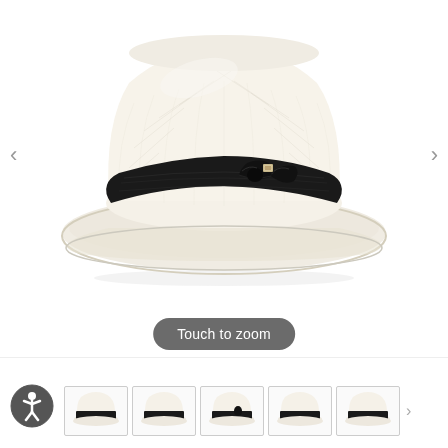[Figure (photo): A white/cream straw fedora hat with a wide black grosgrain band, a black satin bow with a small decorative metal pin, photographed on a white background. The hat has a porkpie/fedora style brim.]
Touch to zoom
[Figure (photo): Accessibility icon - circle with stylized human figure]
[Figure (photo): Thumbnail 1: White straw fedora hat with black band, front-left view]
[Figure (photo): Thumbnail 2: White straw fedora hat with black band, front view]
[Figure (photo): Thumbnail 3: White straw fedora hat with black band, detail view]
[Figure (photo): Thumbnail 4: White straw fedora hat with black band, side view]
[Figure (photo): Thumbnail 5: White straw fedora hat with black band, alternate view]